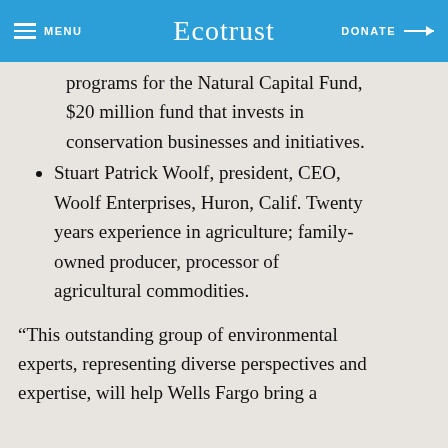MENU | Ecotrust | DONATE →
programs for the Natural Capital Fund, $20 million fund that invests in conservation businesses and initiatives.
Stuart Patrick Woolf, president, CEO, Woolf Enterprises, Huron, Calif. Twenty years experience in agriculture; family-owned producer, processor of agricultural commodities.
“This outstanding group of environmental experts, representing diverse perspectives and expertise, will help Wells Fargo bring a